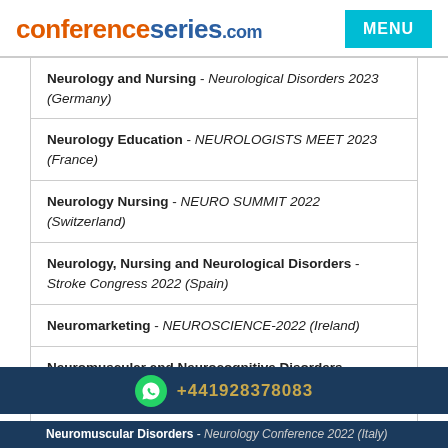conferenceseries.com
Neurology and Nursing - Neurological Disorders 2023 (Germany)
Neurology Education - NEUROLOGISTS MEET 2023 (France)
Neurology Nursing - NEURO SUMMIT 2022 (Switzerland)
Neurology, Nursing and Neurological Disorders - Stroke Congress 2022 (Spain)
Neuromarketing - NEUROSCIENCE-2022 (Ireland)
Neuromuscular and Neurocognitive Disorders - Neurologists Meeting 2022 (Italy)
Neuromuscular Disorders - NEUROLOGISTS MEET 2023 (France)
+441928378083
Neuromuscular Disorders - Neurology Conference 2022 (Italy)